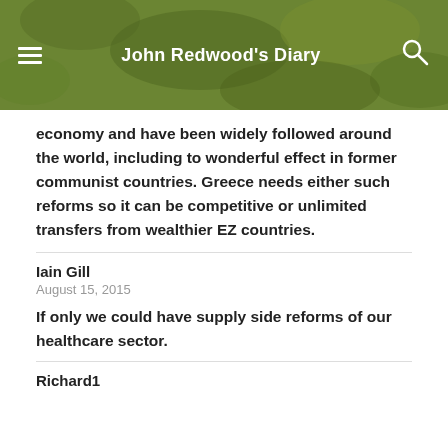John Redwood's Diary
economy and have been widely followed around the world, including to wonderful effect in former communist countries. Greece needs either such reforms so it can be competitive or unlimited transfers from wealthier EZ countries.
Iain Gill
August 15, 2015
If only we could have supply side reforms of our healthcare sector.
Richard1